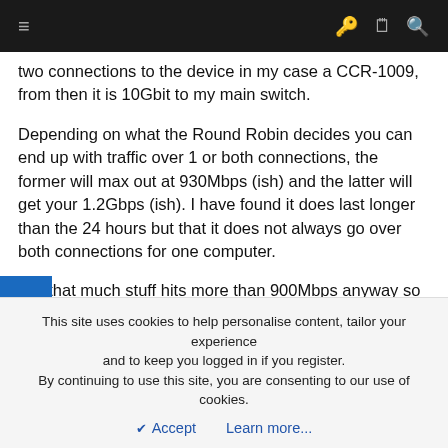Navigation bar with hamburger menu and icons
two connections to the device in my case a CCR-1009, from then it is 10Gbit to my main switch.
Depending on what the Round Robin decides you can end up with traffic over 1 or both connections, the former will max out at 930Mbps (ish) and the latter will get your 1.2Gbps (ish). I have found it does last longer than the 24 hours but that it does not always go over both connections for one computer.
Not that much stuff hits more than 900Mbps anyway so it is a bit of a moot point anyway 🙂
ZikD22
This site uses cookies to help personalise content, tailor your experience and to keep you logged in if you register.
By continuing to use this site, you are consenting to our use of cookies.
Accept   Learn more...